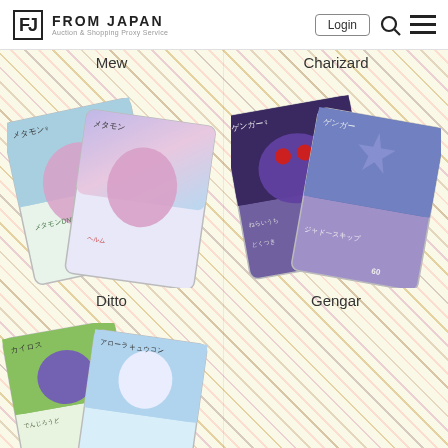FROM JAPAN — Auction & Shopping Proxy Service
Mew
Charizard
[Figure (photo): Two Ditto Pokémon cards (Japanese), one showing Ditto on a meadow background and one showing Ditto on a holographic background]
Ditto
[Figure (photo): Two Gengar Pokémon cards (Japanese), one showing Gengar in a dark forest and one showing Gengar in a blue scene]
Gengar
[Figure (photo): Two Pokémon cards (Japanese) — Heracross on green background and Alolan Ninetales on a snowy background — partially visible at bottom]